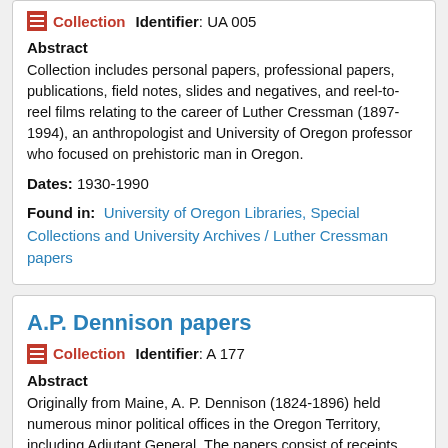Collection  Identifier: UA 005
Abstract
Collection includes personal papers, professional papers, publications, field notes, slides and negatives, and reel-to-reel films relating to the career of Luther Cressman (1897-1994), an anthropologist and University of Oregon professor who focused on prehistoric man in Oregon.
Dates: 1930-1990
Found in:  University of Oregon Libraries, Special Collections and University Archives / Luther Cressman papers
A.P. Dennison papers
Collection  Identifier: A 177
Abstract
Originally from Maine, A. P. Dennison (1824-1896) held numerous minor political offices in the Oregon Territory, including Adjutant General. The papers consist of receipts, letters of appointment, reports